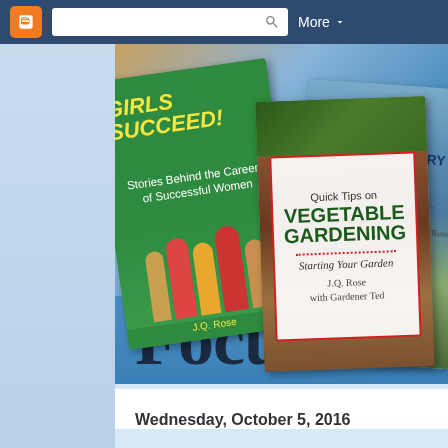[Figure (screenshot): Blogger navigation bar with orange B logo, search box with magnifying glass icon, and 'More' dropdown]
[Figure (photo): Blog header banner showing three book covers: 'Girls Succeed! Stories Behind the Careers of Successful Women' by J.Q. Rose (green cover), 'Quick Tips on Vegetable Gardening - Starting Your Garden' by J.Q. Rose with Gardener Ted (white overlay on vegetable photo background), and 'Your Words: Your Life Story - A Journal for Sharing Memories' by J.Q. Rose (landscape/sky photo cover). Large text 'Focused on' appears at the bottom of the banner on a blue background.]
Wednesday, October 5, 2016